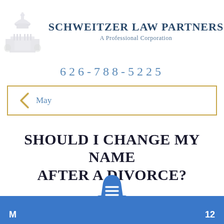[Figure (logo): Schweitzer Law Partners logo with dome/capitol building illustration in gray and firm name in navy blue]
626-788-5225
May
SHOULD I CHANGE MY NAME AFTER A DIVORCE?
M  12